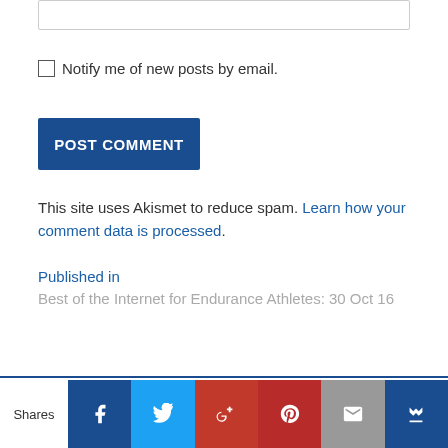Notify me of new posts by email.
POST COMMENT
This site uses Akismet to reduce spam. Learn how your comment data is processed.
Published in
Best of the Internet for Endurance Athletes: 30 Oct 16
Shares